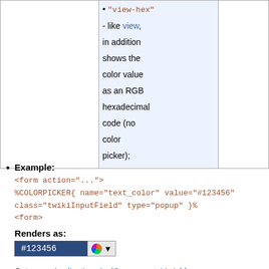[Figure (other): Page icon with letter T on dark background]
|  |  |  |
| --- | --- | --- |
|  | • "view-hex" - like view, in addition shows the color value as an RGB hexadecimal code (no color picker); |  |
Example:
<form action="...">
%COLORPICKER{ name="text_color" value="#123456"
class="twikiInputField" type="popup" }%
<form>
Renders as:
[Figure (other): Color picker input showing #123456 with dark blue background and color wheel button]
Category: ApplicationsAndComponentsVariables, DatabaseAndFormsVariables, EditingAndContentUpdateVariables, FormattingAndRenderingVariables,